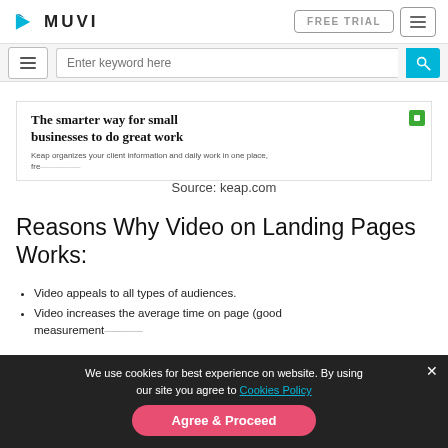[Figure (screenshot): MUVI website header with logo, FREE TRIAL button, hamburger menu button, search bar with 'Enter keyword here' placeholder and blue search icon button]
[Figure (screenshot): Keap.com landing page screenshot showing headline 'The smarter way for small businesses to do great work', subtext about organizing client information, and a green chat widget icon]
Source: keap.com
Reasons Why Video on Landing Pages Works:
Video appeals to all types of audiences.
Video increases the average time on page (good measurement...
We use cookies for best experience on website. By using our site you agree to Cookies Policy
Agree & Proceed